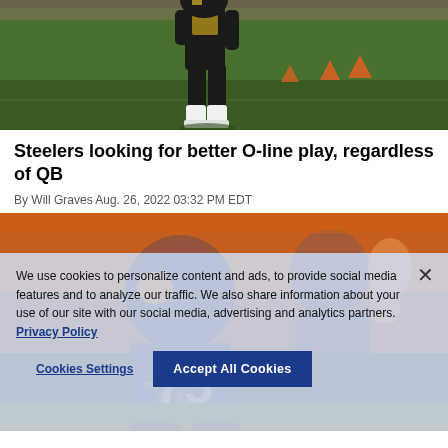[Figure (photo): Football player on field, view of legs and feet with white cleats on green turf, orange cones in background]
Steelers looking for better O-line play, regardless of QB
By Will Graves Aug. 26, 2022 03:32 PM EDT
[Figure (photo): Football players in game action, Denver Broncos players visible in orange uniforms, with cookie consent dialog overlaid]
We use cookies to personalize content and ads, to provide social media features and to analyze our traffic. We also share information about your use of our site with our social media, advertising and analytics partners. Privacy Policy
Cookies Settings   Accept All Cookies